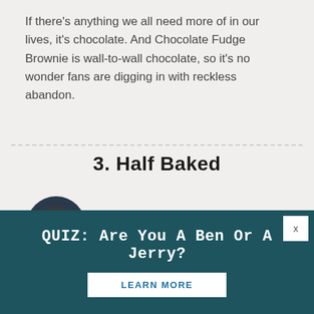If there's anything we all need more of in our lives, it's chocolate. And Chocolate Fudge Brownie is wall-to-wall chocolate, so it's no wonder fans are digging in with reckless abandon.
3. Half Baked
[Figure (photo): Cookie icon (dark circle with cookie graphic) and image placeholder reading 'A pint of Half Baked spoon ready']
Could you possibly go wrong with a combination of Cookie Dough and Chocolate Fudge Brownie, all in one pint? No
QUIZ: Are You A Ben Or A Jerry?
LEARN MORE